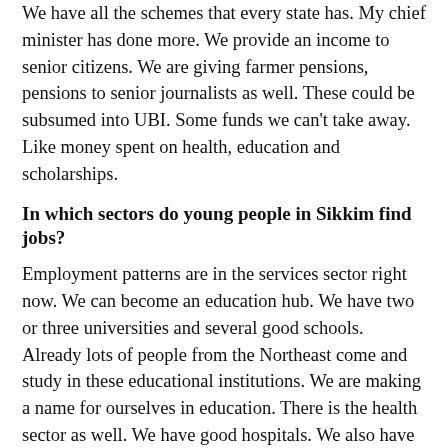We have all the schemes that every state has. My chief minister has done more. We provide an income to senior citizens. We are giving farmer pensions, pensions to senior journalists as well. These could be subsumed into UBI. Some funds we can't take away. Like money spent on health, education and scholarships.
In which sectors do young people in Sikkim find jobs?
Employment patterns are in the services sector right now. We can become an education hub. We have two or three universities and several good schools. Already lots of people from the Northeast come and study in these educational institutions. We are making a name for ourselves in education. There is the health sector as well. We have good hospitals. We also have fresh air and organic food.
What about entrepreneurship?